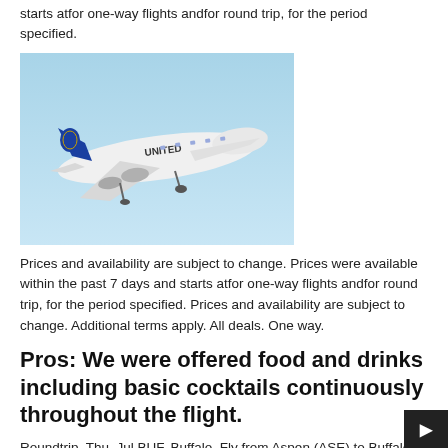starts atfor one-way flights andfor round trip, for the period specified.
[Figure (photo): A United Airlines Boeing 777 aircraft in flight against a light blue sky, viewed from below-right, showing the white fuselage with UNITED livery and blue tail with globe logo.]
Prices and availability are subject to change. Prices were available within the past 7 days and starts atfor one-way flights andfor round trip, for the period specified. Prices and availability are subject to change. Additional terms apply. All deals. One way.
Pros: We were offered food and drinks including basic cocktails continuously throughout the flight.
Roundtrip. Thu, Jul BUF. Buffalo. Fly from Aspen (ASE) to Buffalo (BUF) ASE - BUF;- 1, Cheapest option. Flights from Aspen to Buffalo via Dallas/airlinehelp.xyz, Reagan Washington Ave.